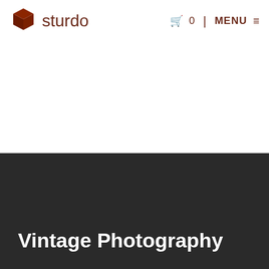sturdo  🛒 0  |  MENU ≡
[Figure (logo): Sturdo brand logo with a brown 3D cube icon on the left and the word 'sturdo' in brown lowercase letters on the right]
Vintage Photography